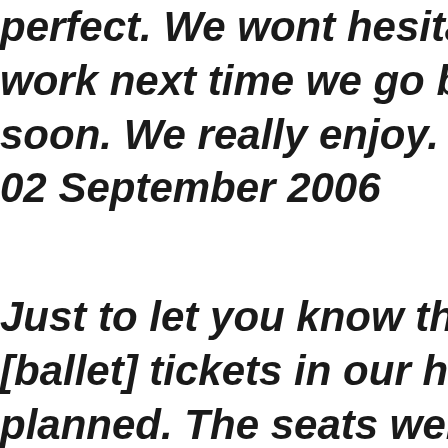perfect. We wont hesitate to ask work next time we go back. Hop soon. We really enjoy. Thank yo 02 September 2006      Adelaide
Just to let you know that we rec [ballet] tickets in our hotel as it planned. The seats were fantas enjoyed the show.